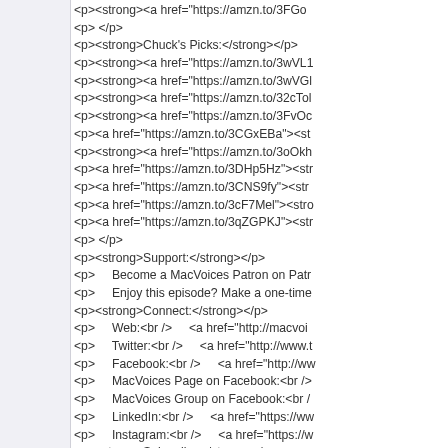<p><strong><a href="https://amzn.to/3FGo...
<p> </p>
<p><strong>Chuck's Picks:</strong></p>
<p><strong><a href="https://amzn.to/3wVL1...
<p><strong><a href="https://amzn.to/3wVGl...
<p><strong><a href="https://amzn.to/32cTol...
<p><strong><a href="https://amzn.to/3FvOc...
<p><a href="https://amzn.to/3CGxEBa"><st...
<p><strong><a href="https://amzn.to/3oOkh...
<p><a href="https://amzn.to/3DHp5Hz"><str...
<p><a href="https://amzn.to/3CNS9fy"><str...
<p><a href="https://amzn.to/3cF7Mel"><str...
<p><a href="https://amzn.to/3qZGPKJ"><str...
<p> </p>
<p><strong>Support:</strong></p>
<p>     Become a MacVoices Patron on Patr...
<p>     Enjoy this episode? Make a one-time...
<p><strong>Connect:</strong></p>
<p>     Web:<br />     <a href="http://macvoic...
<p>     Twitter:<br />     <a href="http://www.t...
<p>     Facebook:<br />     <a href="http://ww...
<p>     MacVoices Page on Facebook:<br />...
<p>     MacVoices Group on Facebook:<br /...
<p>     LinkedIn:<br />     <a href="https://ww...
<p>     Instagram:<br />     <a href="https://w...
<p><strong>Subscribe:</strong></p>
<p><strong>     </strong><a href="https://itu...
<p>     Subscribe manually via iTunes or any...
<p>     Audio: <a href="http://www.macvoice...
Direct download: MV21226.mp3
Category: podcasts -- posted at: 2:00pm EDT
Mon, 29 November 2021
MacVoices #21225: